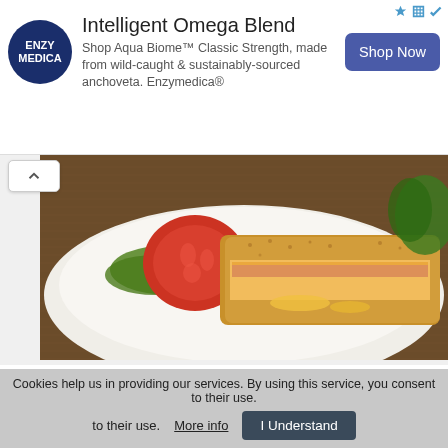[Figure (photo): Enzymedica advertisement banner with logo, text, and Shop Now button]
[Figure (photo): Chicken Cordon Bleu dish on white plate with tomato, lettuce garnish]
recipes
Chicken Cordon Bleu
★★★★★ (5 stars)
…breasts into a layer of smoky ham, its golden-fried
Cookies help us in providing our services. By using this service, you consent to their use. More info I Understand